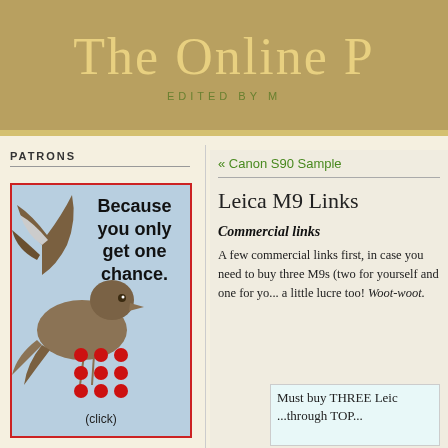The Online P
EDITED BY M
PATRONS
[Figure (illustration): Advertisement with bird photo and text 'Because you only get one chance.' with red dot pattern and (click) label]
« Canon S90 Sample
Leica M9 Links
Commercial links
A few commercial links first, in case you need to buy three M9s (two for yourself and one for yo... a little lucre too! Woot-woot.
[Figure (illustration): Promo box with text 'Must buy THREE Leica ...through TOP...']